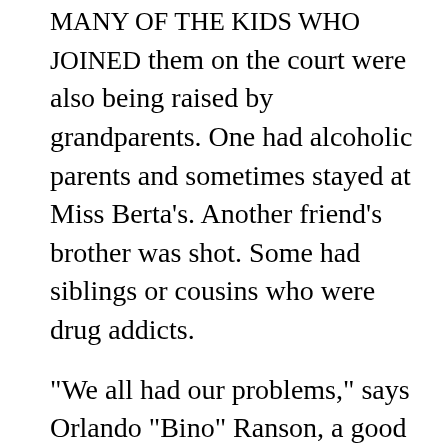MANY OF THE KIDS WHO JOINED them on the court were also being raised by grandparents. One had alcoholic parents and sometimes stayed at Miss Berta's. Another friend's brother was shot. Some had siblings or cousins who were drug addicts.
"We all had our problems," says Orlando "Bino" Ranson, a good childhood friend. "You'd see Juan carrying football equipment and Phil holding a basketball. People didn't really know details about their 'other' life."
The brothers tried to stay out of trouble,